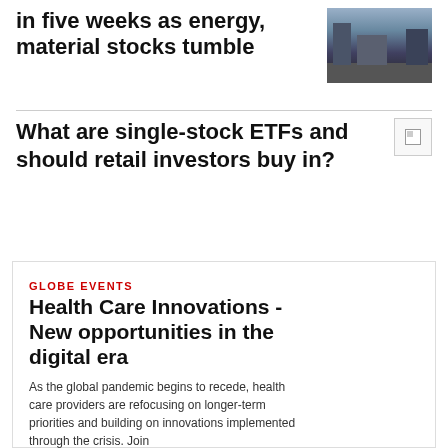in five weeks as energy, material stocks tumble
[Figure (photo): City street with buildings]
What are single-stock ETFs and should retail investors buy in?
[Figure (photo): Small image placeholder]
GLOBE EVENTS
Health Care Innovations - New opportunities in the digital era
[Figure (photo): Portrait of a woman with auburn hair]
As the global pandemic begins to recede, health care providers are refocusing on longer-term priorities and building on innovations implemented through the crisis. Join